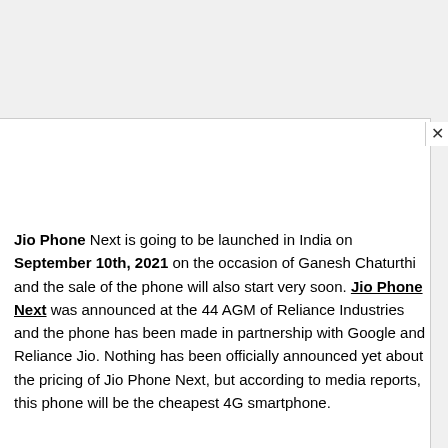Jio Phone Next is going to be launched in India on September 10th, 2021 on the occasion of Ganesh Chaturthi and the sale of the phone will also start very soon. Jio Phone Next was announced at the 44 AGM of Reliance Industries and the phone has been made in partnership with Google and Reliance Jio. Nothing has been officially announced yet about the pricing of Jio Phone Next, but according to media reports, this phone will be the cheapest 4G smartphone.